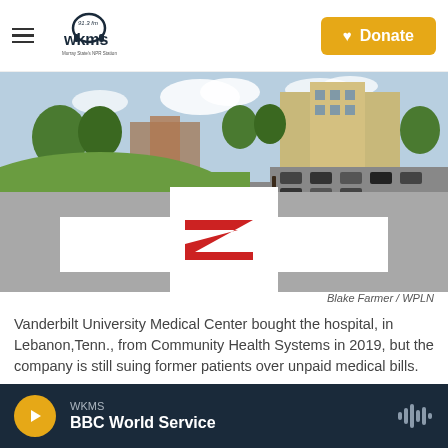[Figure (logo): WKMS 91.3 FM logo with headphones icon and tagline Murray State's NPR Station]
[Figure (photo): Hospital helipad with red cross marking painted on concrete, green lawn and hospital building in background]
Blake Farmer / WPLN
Vanderbilt University Medical Center bought the hospital, in Lebanon,Tenn., from Community Health Systems in 2019, but the company is still suing former patients over unpaid medical bills.
WKMS BBC World Service